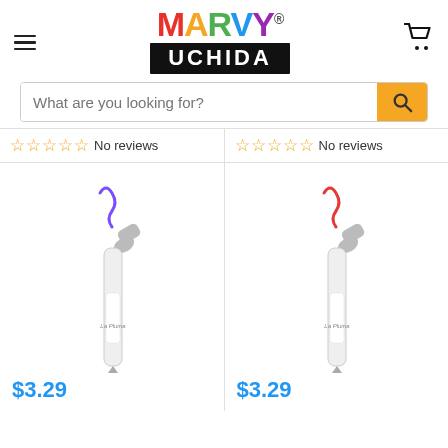[Figure (logo): Marvy Uchida logo with colorful MARVY text and black UCHIDA block]
[Figure (screenshot): Search bar with placeholder text 'What are you looking for?' and orange search button]
☆☆☆☆☆ No reviews
☆☆☆☆☆ No reviews
[Figure (photo): White Le Pluma marker with purple ink squiggle and purple cap]
[Figure (photo): White Le Pluma marker with red/orange ink squiggle and red cap]
$3.29
$3.29